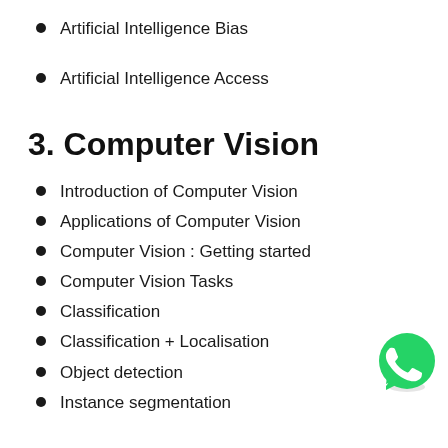Artificial Intelligence Bias
Artificial Intelligence Access
3. Computer Vision
Introduction of Computer Vision
Applications of Computer Vision
Computer Vision : Getting started
Computer Vision Tasks
Classification
Classification + Localisation
Object detection
Instance segmentation
[Figure (logo): WhatsApp green logo icon]